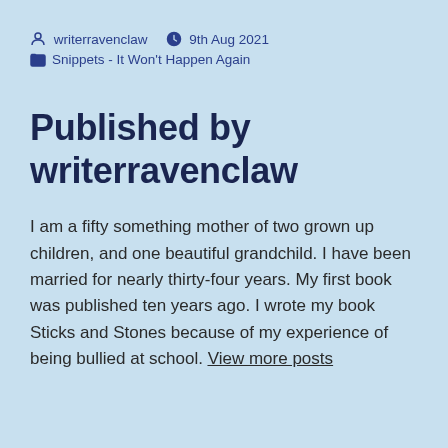writerravenclaw  9th Aug 2021  Snippets - It Won't Happen Again
Published by writerravenclaw
I am a fifty something mother of two grown up children, and one beautiful grandchild. I have been married for nearly thirty-four years. My first book was published ten years ago. I wrote my book Sticks and Stones because of my experience of being bullied at school. View more posts